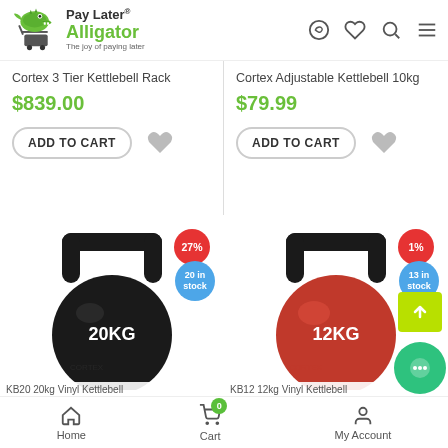Pay Later® Alligator - The joy of paying later
Cortex 3 Tier Kettlebell Rack
$839.00
ADD TO CART
Cortex Adjustable Kettlebell 10kg
$79.99
ADD TO CART
[Figure (photo): Black 20KG kettlebell with 27% discount badge and 20 in stock badge]
KB20 20kg Vinyl Kettlebell
[Figure (photo): Red 12KG kettlebell with 1% discount badge and 13 in stock badge]
KB12 12kg Vinyl Kettlebell
Home | Cart (0) | My Account